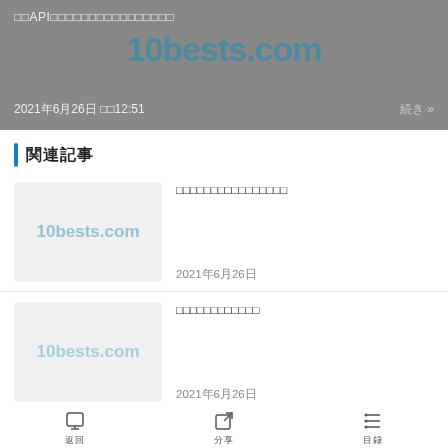[Figure (screenshot): Gray banner with Japanese text title, 10bests.com watermark text, date 2021年6月26日 時12:51, and 続き» link]
関連記事
[Figure (screenshot): Article card thumbnail with 10bests.com watermark on gray background]
□□□□□□□□□□□□□□□□
2021年6月26日
[Figure (screenshot): Article card thumbnail with 10bests.com watermark on gray background]
□□□□□□□□□□□□
2021年6月26日
返回  分享  目录